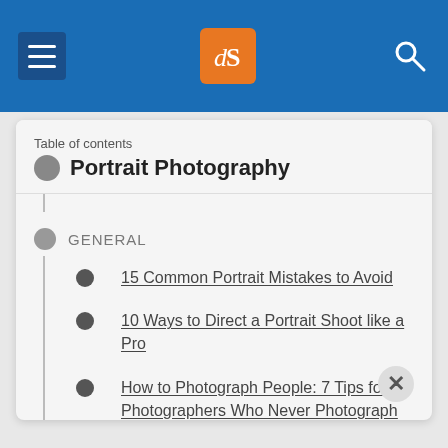[Figure (screenshot): Website navigation bar with hamburger menu icon, digital photography school logo (dPS in orange square), and search icon on blue background]
Table of contents
Portrait Photography
GENERAL
15 Common Portrait Mistakes to Avoid
10 Ways to Direct a Portrait Shoot like a Pro
How to Photograph People: 7 Tips for Photographers Who Never Photograph People
10 Crucial Things You Need to Think About for Portrait Photography